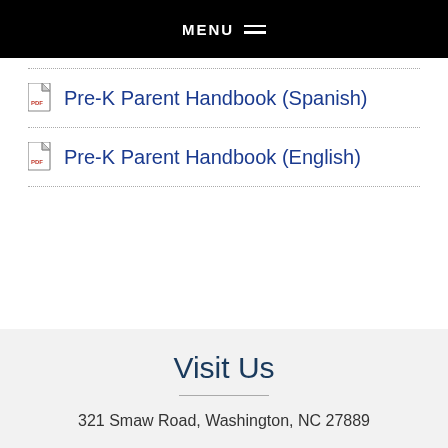MENU
Pre-K Parent Handbook (Spanish)
Pre-K Parent Handbook (English)
Visit Us
321 Smaw Road, Washington, NC 27889